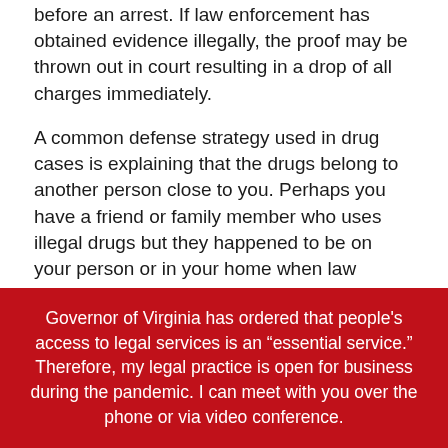before an arrest. If law enforcement has obtained evidence illegally, the proof may be thrown out in court resulting in a drop of all charges immediately.
A common defense strategy used in drug cases is explaining that the drugs belong to another person close to you. Perhaps you have a friend or family member who uses illegal drugs but they happened to be on your person or in your home when law enforcement searched.
After consulting with you, they are likely to follow up with a testing of the substance confiscated from you. For example, a white pillowy powder may look like crack or cocaine, but it could easily
Governor of Virginia has ordered that people’s access to legal services is an “essential service.” Therefore, my legal practice is open for business during the pandemic. I can meet with you over the phone or via video conference.